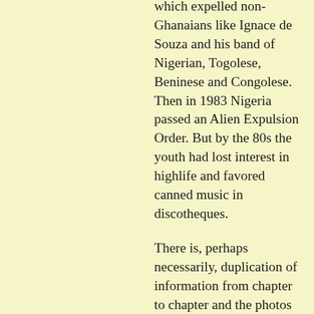which expelled non-Ghanaians like Ignace de Souza and his band of Nigerian, Togolese, Beninese and Congolese. Then in 1983 Nigeria passed an Alien Expulsion Order. But by the 80s the youth had lost interest in highlife and favored canned music in discotheques.
There is, perhaps necessarily, duplication of information from chapter to chapter and the photos are murky for the most part, but this book will become an indispensable reference work for enthusiasts of West African popular music. My other criticisms are minor, mainly typographical errors like Jonas Pedro for Gnonnas, but calling Congolese rumba soukous is likely to confuse readers. And note you can still find the accompanying soundtrack on such albums as